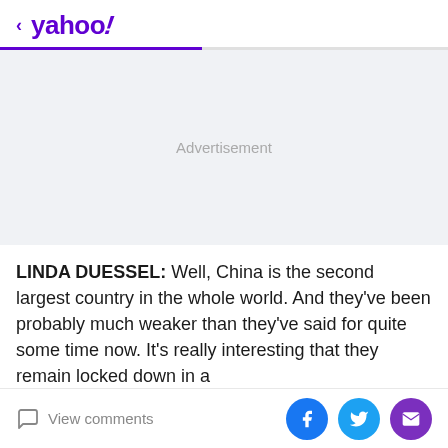< yahoo!
[Figure (other): Advertisement placeholder area with light gray background and 'Advertisement' label text centered]
LINDA DUESSEL: Well, China is the second largest country in the whole world. And they've been probably much weaker than they've said for quite some time now. It's really interesting that they remain locked down in a
View comments